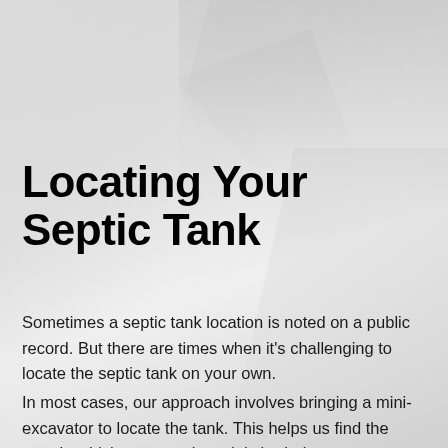Locating Your Septic Tank
Sometimes a septic tank location is noted on a public record. But there are times when it’s challenging to locate the septic tank on your own.
In most cases, our approach involves bringing a mini-excavator to locate the tank. This helps us find the area in which your septic tank is buried on your property. We use additional